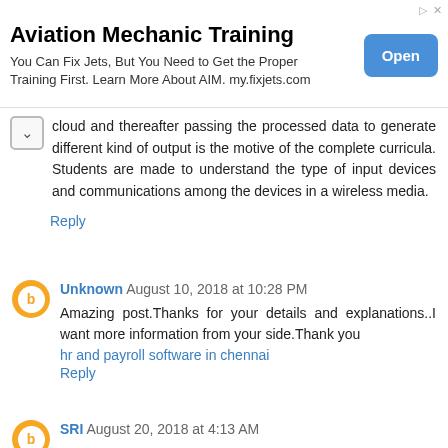[Figure (other): Advertisement banner for Aviation Mechanic Training with an Open button]
cloud and thereafter passing the processed data to generate different kind of output is the motive of the complete curricula. Students are made to understand the type of input devices and communications among the devices in a wireless media.
Reply
Unknown  August 10, 2018 at 10:28 PM
Amazing post.Thanks for your details and explanations..I want more information from your side.Thank you
hr and payroll software in chennai
Reply
SRI  August 20, 2018 at 4:13 AM